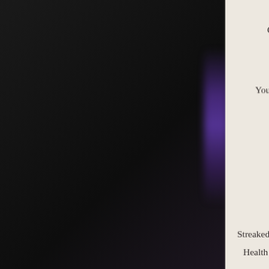[Figure (photo): Dark panel on the left side of the page, showing a very dark nearly black background with a purple/violet glowing light strip near the right edge of the dark area.]
T
Of mo
Pin

You come
Than i



A
O

Streaked
Health


Sh